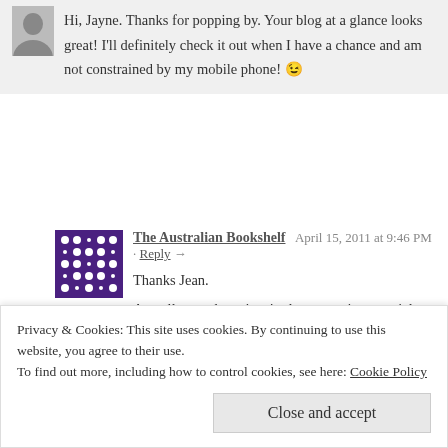Hi, Jayne. Thanks for popping by. Your blog at a glance looks great! I'll definitely check it out when I have a chance and am not constrained by my mobile phone! 😉
The Australian Bookshelf  April 15, 2011 at 9:46 PM · Reply →
Thanks Jean.

Actually, you have inspired me to write an article about my own procrastinating habits and i have just posted it on my blog today.

Congrats again on being FP. Can't believe how many comments you have! How do you do it?

Jayne
Privacy & Cookies: This site uses cookies. By continuing to use this website, you agree to their use.
To find out more, including how to control cookies, see here: Cookie Policy
Close and accept